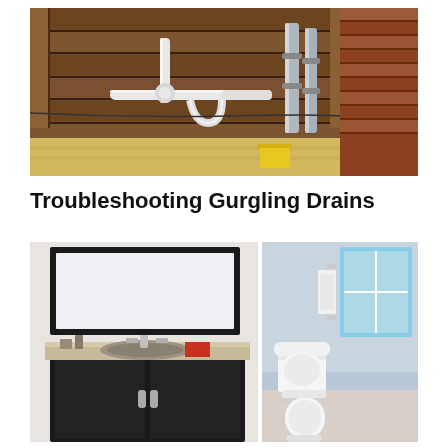[Figure (photo): Ceiling view showing exposed wooden joists, plumbing pipes (white PVC with P-trap and elbow fittings, plus galvanized metal pipes), and insulation. A yellow bucket is visible on the ground below.]
Troubleshooting Gurgling Drains
[Figure (photo): Two bathroom photos side by side: left shows a dark wood bathroom vanity with a granite countertop, undermount sink, chrome faucet, and a dark framed mirror; right shows a modern white toilet and bidet set in a blue-grey bathroom with a window and white towels.]